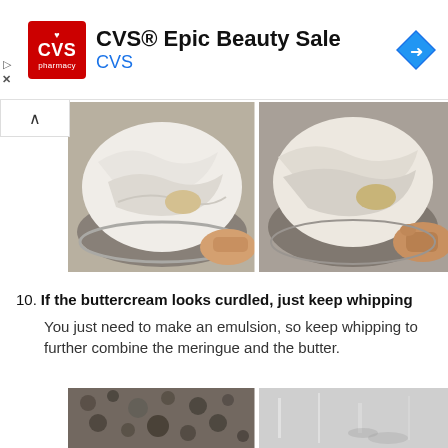[Figure (other): CVS Pharmacy advertisement banner with red CVS logo, text 'CVS® Epic Beauty Sale' and 'CVS', and a blue navigation arrow icon on the right]
[Figure (photo): Two side-by-side photos of a bowl of white creamy buttercream being whipped, with a hand touching the bowl in both images]
10. If the buttercream looks curdled, just keep whipping
You just need to make an emulsion, so keep whipping to further combine the meringue and the butter.
[Figure (photo): Two side-by-side photos showing curdled buttercream (left, grainy texture) and a metal mixing bowl with whisk attachment (right)]